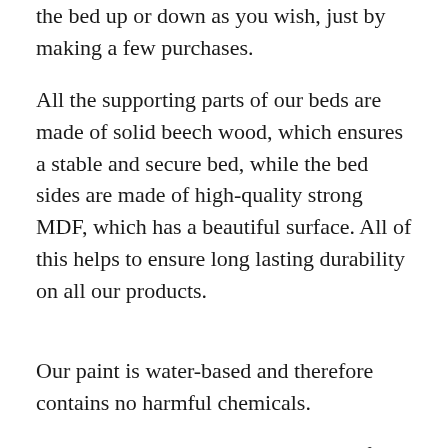the bed up or down as you wish, just by making a few purchases.
All the supporting parts of our beds are made of solid beech wood, which ensures a stable and secure bed, while the bed sides are made of high-quality strong MDF, which has a beautiful surface. All of this helps to ensure long lasting durability on all our products.
Our paint is water-based and therefore contains no harmful chemicals.
All our beds are tested and approved for 120 kg static pressure at a diameter of 30 cm. This means that children and adults can easily enjoy a cozy bedtime story together in our beds.